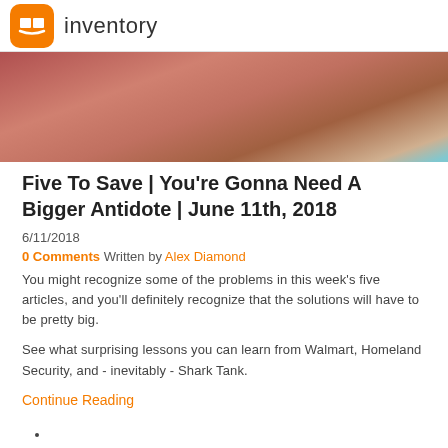inventory
[Figure (photo): Close-up photo of cardboard packaging with pink/red and teal colored items inside]
Five To Save | You're Gonna Need A Bigger Antidote | June 11th, 2018
6/11/2018
0 Comments Written by Alex Diamond
You might recognize some of the problems in this week's five articles, and you'll definitely recognize that the solutions will have to be pretty big.
See what surprising lessons you can learn from Walmart, Homeland Security, and - inevitably - Shark Tank.
Continue Reading